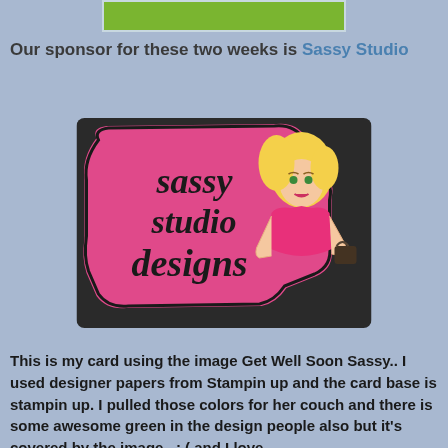[Figure (illustration): Green banner/button at top of page]
Our sponsor for these two weeks is Sassy Studio
[Figure (logo): Sassy Studio Designs logo featuring a pink decorative sign with black gothic text reading 'sassy studio designs' and a cartoon blonde woman in a pink dress]
This is my card using the image Get Well Soon Sassy.. I used designer papers from Stampin up and the card base is stampin up. I pulled those colors for her couch and there is some awesome green in the design people also but it's covered by the image.. : (   and I love